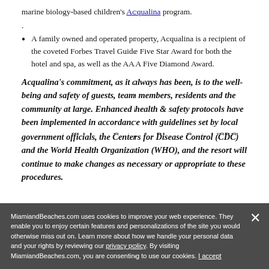marine biology-based children's Acqualina program.
.
A family owned and operated property, Acqualina is a recipient of the coveted Forbes Travel Guide Five Star Award for both the hotel and spa, as well as the AAA Five Diamond Award.
Acqualina's commitment, as it always has been, is to the well-being and safety of guests, team members, residents and the community at large. Enhanced health & safety protocols have been implemented in accordance with guidelines set by local government officials, the Centers for Disease Control (CDC) and the World Health Organization (WHO), and the resort will continue to make changes as necessary or appropriate to these procedures.
MiamiandBeaches.com uses cookies to improve your web experience. They enable you to enjoy certain features and personalizations of the site you would otherwise miss out on. Learn more about how we handle your personal data and your rights by reviewing our privacy policy. By visiting MiamiandBeaches.com, you are consenting to use our cookies. I accept